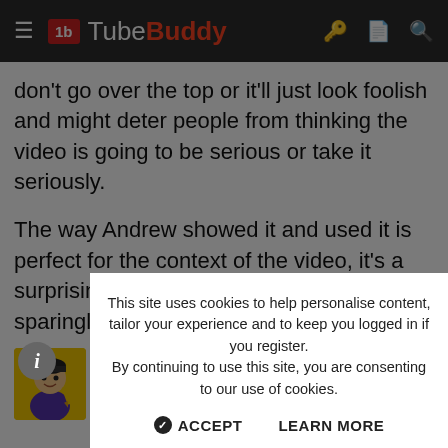TubeBuddy
don't go over the top or it'll just look foolish and might deter people from thinking the video is going to be serious or take it seriously.
The way Andrew showed it and used it is perfect for the context of the video, it's a surprising "shocking" topic. I'd use the 😮 sparingly, or you risk falling into Ali A territory and becoming a meme.
[Figure (screenshot): Beanie Draws YouTube channel card with avatar and 34K subscriber badge]
This site uses cookies to help personalise content, tailor your experience and to keep you logged in if you register. By continuing to use this site, you are consenting to our use of cookies.
ACCEPT   LEARN MORE